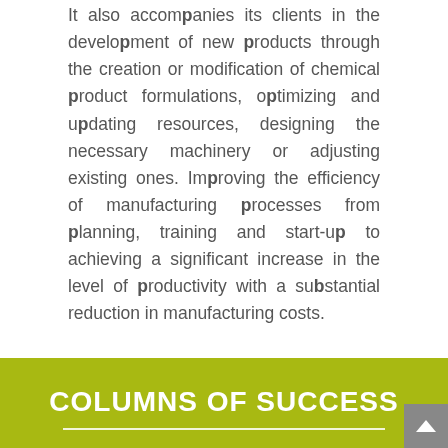It also accompanies its clients in the development of new products through the creation or modification of chemical product formulations, optimizing and updating resources, designing the necessary machinery or adjusting existing ones. Improving the efficiency of manufacturing processes from planning, training and start-up to achieving a significant increase in the level of productivity with a substantial reduction in manufacturing costs.
COLUMNS OF SUCCESS
In accordance with the principles of Vibar